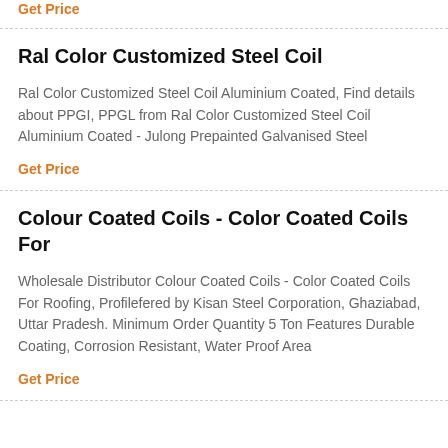Get Price
Ral Color Customized Steel Coil
Ral Color Customized Steel Coil Aluminium Coated, Find details about PPGI, PPGL from Ral Color Customized Steel Coil Aluminium Coated - Julong Prepainted Galvanised Steel
Get Price
Colour Coated Coils - Color Coated Coils For
Wholesale Distributor Colour Coated Coils - Color Coated Coils For Roofing, Profilefered by Kisan Steel Corporation, Ghaziabad, Uttar Pradesh. Minimum Order Quantity 5 Ton Features Durable Coating, Corrosion Resistant, Water Proof Area
Get Price